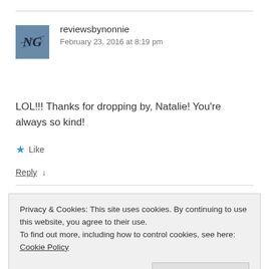[Figure (photo): Avatar image for user reviewsbynonnie — appears to be a stylized signature or monogram on a blue/dark background]
reviewsbynonnie
February 23, 2016 at 8:19 pm
LOL!!! Thanks for dropping by, Natalie! You’re always so kind!
★ Like
Reply ↓
Privacy & Cookies: This site uses cookies. By continuing to use this website, you agree to their use.
To find out more, including how to control cookies, see here: Cookie Policy
Close and accept